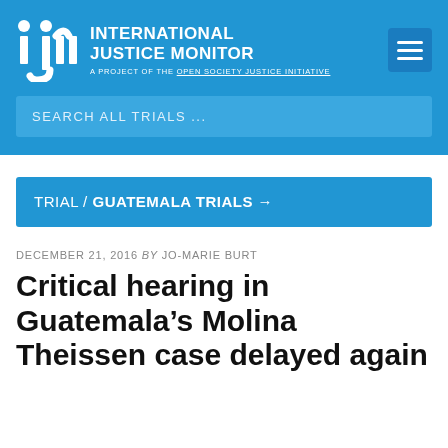[Figure (logo): International Justice Monitor logo with IJM icon and site name]
SEARCH ALL TRIALS ...
TRIAL / GUATEMALA TRIALS →
DECEMBER 21, 2016 by JO-MARIE BURT
Critical hearing in Guatemala's Molina Theissen case delayed again